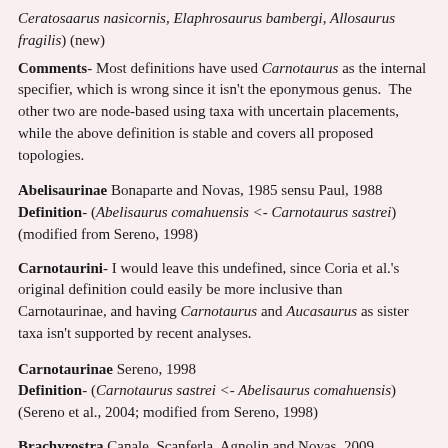Ceratosaarus nasicornis, Elaphrosaurus bambergi, Allosaurus fragilis) (new)
Comments- Most definitions have used Carnotaurus as the internal specifier, which is wrong since it isn't the eponymous genus.  The other two are node-based using taxa with uncertain placements, while the above definition is stable and covers all proposed topologies.
Abelisaurinae Bonaparte and Novas, 1985 sensu Paul, 1988
Definition- (Abelisaurus comahuensis <- Carnotaurus sastrei) (modified from Sereno, 1998)
Carnotaurini- I would leave this undefined, since Coria et al.'s original definition could easily be more inclusive than Carnotaurinae, and having Carnotaurus and Aucasaurus as sister taxa isn't supported by recent analyses.
Carnotaurinae Sereno, 1998
Definition- (Carnotaurus sastrei <- Abelisaurus comahuensis) (Sereno et al., 2004; modified from Sereno, 1998)
Brachyrostra Canale, Scanferla, Agnolin and Novas, 2009
Definition- (Carnotaurus sastrei <- Majungasaurus crenatissimus)